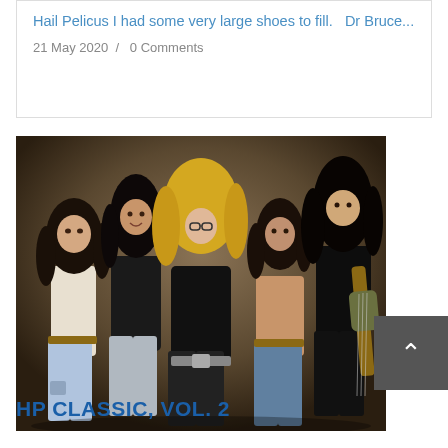Hail Pelicus I had some very large shoes to fill.   Dr Bruce...
21 May 2020  /  0 Comments
[Figure (photo): Group photo of five people dressed in heavy metal / glam rock style outfits with big hair, leather jackets, ripped jeans, and a guitar. Dark studio background.]
HP CLASSIC, VOL. 2